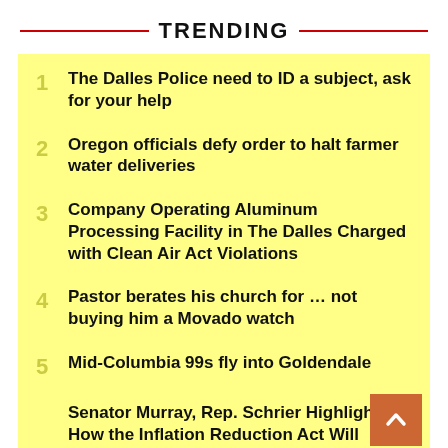TRENDING
The Dalles Police need to ID a subject, ask for your help
Oregon officials defy order to halt farmer water deliveries
Company Operating Aluminum Processing Facility in The Dalles Charged with Clean Air Act Violations
Pastor berates his church for … not buying him a Movado watch
Mid-Columbia 99s fly into Goldendale
Senator Murray, Rep. Schrier Highlight How the Inflation Reduction Act Will Lower...